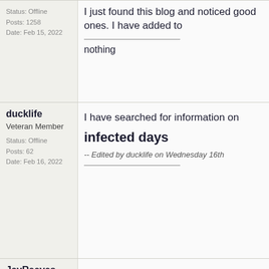Status: Offline
Posts: 1258
Date: Feb 15, 2022
I just found this blog and noticed good ones. I have added to
nothing
ducklife
Veteran Member
Status: Offline
Posts: 62
Date: Feb 16, 2022
I have searched for information on
infected days
-- Edited by ducklife on Wednesday 16th
JayReeves
Guru
Status: Offline
Posts: 1258
Thanks for a wonderful sha this field. Brilliant .i love it re